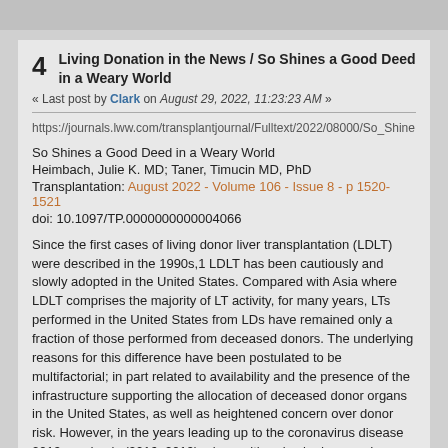4  Living Donation in the News / So Shines a Good Deed in a Weary World
« Last post by Clark on August 29, 2022, 11:23:23 AM »
https://journals.lww.com/transplantjournal/Fulltext/2022/08000/So_Shin...
So Shines a Good Deed in a Weary World
Heimbach, Julie K. MD; Taner, Timucin MD, PhD
Transplantation: August 2022 - Volume 106 - Issue 8 - p 1520-1521
doi: 10.1097/TP.0000000000004066
Since the first cases of living donor liver transplantation (LDLT) were described in the 1990s,1 LDLT has been cautiously and slowly adopted in the United States. Compared with Asia where LDLT comprises the majority of LT activity, for many years, LTs performed in the United States from LDs have remained only a fraction of those performed from deceased donors. The underlying reasons for this difference have been postulated to be multifactorial; in part related to availability and the presence of the infrastructure supporting the allocation of deceased donor organs in the United States, as well as heightened concern over donor risk. However, in the years leading up to the coronavirus disease 2019 pandemic (2016–2019), along with a rise in deceased donation, there has been a steady rise in the number of LDLTs performed in the United States.2 Concurrently, the interest in